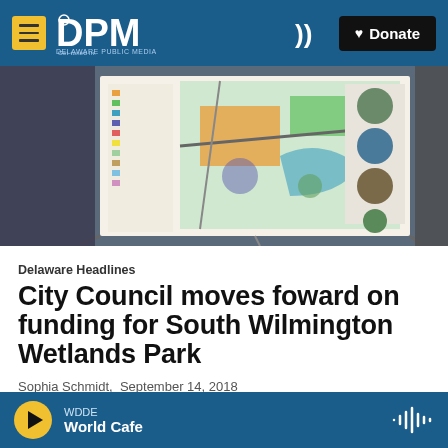DPM Delaware Public Media — Get tuned in. | Donate
[Figure (photo): A large planning map/display board on an easel showing a colorful land-use map of South Wilmington Wetlands, with legend and aerial photo insets, displayed in what appears to be a public meeting room.]
Delaware Headlines
City Council moves foward on funding for South Wilmington Wetlands Park
Sophia Schmidt,  September 14, 2018
Wilmington City Council authorized the issuance of
WDDE  World Cafe